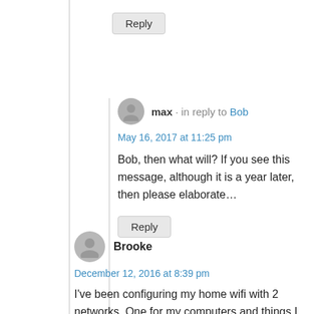Reply
max · in reply to Bob
May 16, 2017 at 11:25 pm
Bob, then what will? If you see this message, although it is a year later, then please elaborate…
Reply
Brooke
December 12, 2016 at 8:39 pm
I've been configuring my home wifi with 2 networks. One for my computers and things I trust